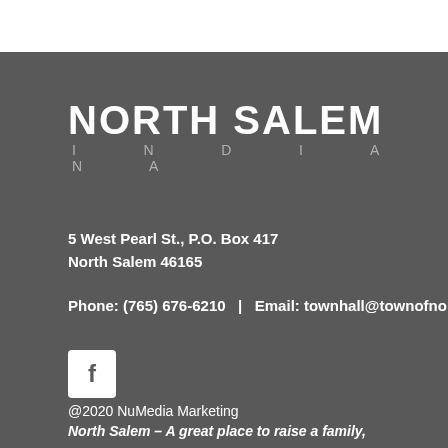[Figure (logo): North Salem Indiana town logo with bold white text 'NORTH SALEM' and lighter spaced text 'INDIANA' below]
5 West Pearl St., P.O. Box 417
North Salem 46165
Phone: (765) 676-6210   |   Email: townhall@townofnorth
[Figure (logo): Facebook icon - white square with dark letter f]
@2020 NuMedia Marketing
North Salem – A great place to raise a family,